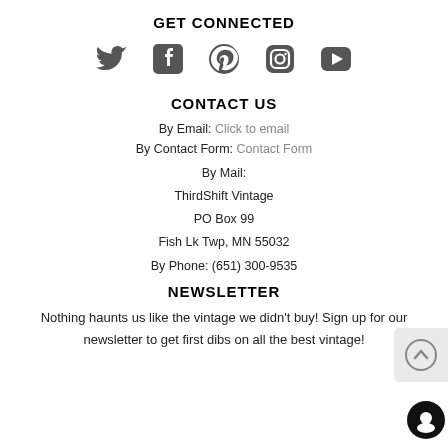GET CONNECTED
[Figure (illustration): Five social media icons in a row: Twitter bird, Facebook f, Pinterest P, Instagram camera, YouTube play button]
CONTACT US
By Email: Click to email
By Contact Form: Contact Form
By Mail:
ThirdShift Vintage
PO Box 99
Fish Lk Twp, MN 55032
By Phone: (651) 300-9535
NEWSLETTER
Nothing haunts us like the vintage we didn't buy! Sign up for our newsletter to get first dibs on all the best vintage!
[Figure (illustration): Scroll-to-top circular arrow button (grey background)]
[Figure (illustration): Chat/message circular black button]